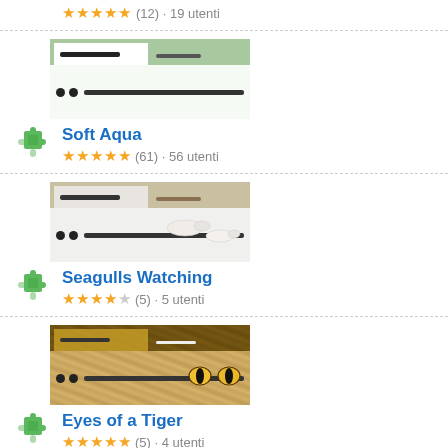(12) · 19 utenti
[Figure (screenshot): Browser preview of Soft Aqua theme with green tab bar]
Soft Aqua
(61) · 56 utenti
[Figure (screenshot): Browser preview of Seagulls Watching theme with birds]
Seagulls Watching
(5) · 5 utenti
[Figure (screenshot): Browser preview of Eyes of a Tiger theme with tiger fur]
Eyes of a Tiger
(5) · 4 utenti